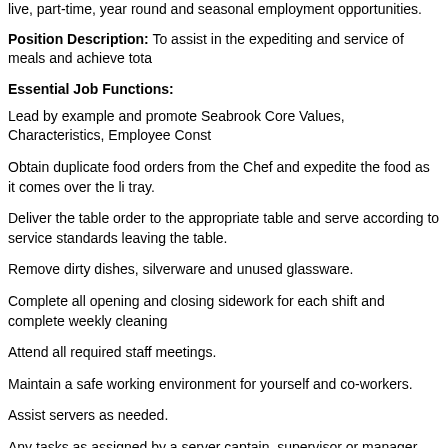live, part-time, year round and seasonal employment opportunities.
Position Description: To assist in the expediting and service of meals and achieve tota
Essential Job Functions:
Lead by example and promote Seabrook Core Values, Characteristics, Employee Const
Obtain duplicate food orders from the Chef and expedite the food as it comes over the li tray.
Deliver the table order to the appropriate table and serve according to service standards leaving the table.
Remove dirty dishes, silverware and unused glassware.
Complete all opening and closing sidework for each shift and complete weekly cleaning
Attend all required staff meetings.
Maintain a safe working environment for yourself and co-workers.
Assist servers as needed.
Any tasks as assigned by a server captain, supervisor or manager.
Job Requirement:
Education: High School Diploma or GED equivalent preferred.
Experience: Some other text about experience of food...